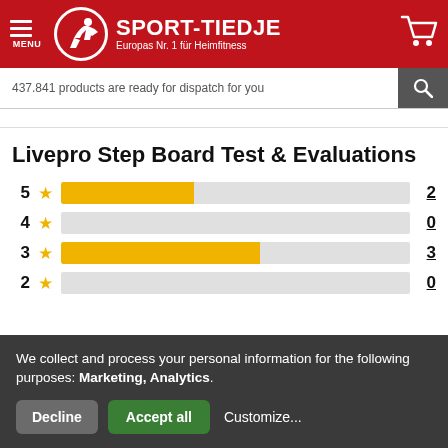[Figure (logo): Sport-Tiedje logo with red header, runner icon, and text 'SPORT-TIEDJE Europas Nr. 1 für Heimfitness']
437.841 products are ready for dispatch for you
Livepro Step Board Test & Evaluations
[Figure (bar-chart): Star rating distribution]
We collect and process your personal information for the following purposes: Marketing, Analytics.
Decline
Accept all
Customize...